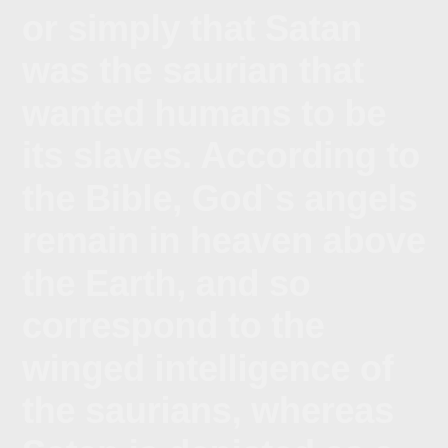or simply that Satan was the saurian that wanted humans to be its slaves. According to the Bible, God`s angels remain in heaven above the Earth, and so correspond to the winged intelligence of the saurians, whereas Satan is depicted as a winged `red dragon` in Revelation, that is, as human air power for war, which is most easily recognizably represented by the US $ 1 billion paid since for each `Spirit` stealth bomber, a symbol of men infected by their acceptance of the viral life of a devouring parasitoid in host womb slaves for saurians.